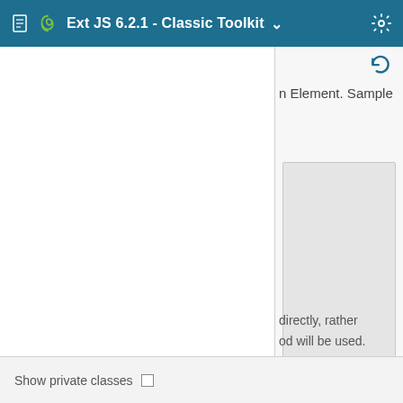Ext JS 6.2.1 - Classic Toolkit
n Element. Sample
[Figure (screenshot): Empty light gray preview/code box]
directly, rather od will be used.
Show private classes